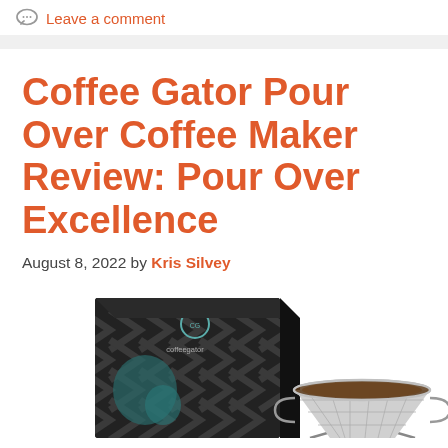Leave a comment
Coffee Gator Pour Over Coffee Maker Review: Pour Over Excellence
August 8, 2022 by Kris Silvey
[Figure (photo): Coffee Gator Pour Over Coffee Maker product photo showing a black chevron-patterned box alongside a stainless steel pour-over coffee filter/dripper with coffee grounds inside]